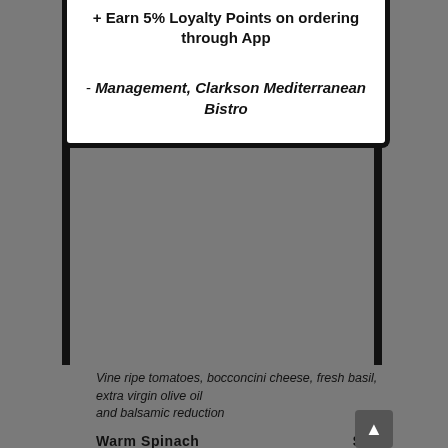+ Earn 5% Loyalty Points on ordering through App
- Management, Clarkson Mediterranean Bistro
Vine ripe tomatoes, bocconcini cheese, fresh basil, extra virgin olive oil and balsamic reduction
Warm Spinach  $9.95
Crispy bacon, boiled egg, sauteed mushrooms, onions, tossed in a sundried tomato and oregano dressing
Clarkson Calamari Salad  $12.95
Fried calamari, topped with arugula, walnuts, cherry tomatoes and raisins with a sesame tangerine dressing
Greek Salad with Baby Shrimp  $14.95
Romaine lettuce, tomatoes, cucumbers, peppers, red onion and olives. Tossed in a greek dressing, topped with baby shrimp